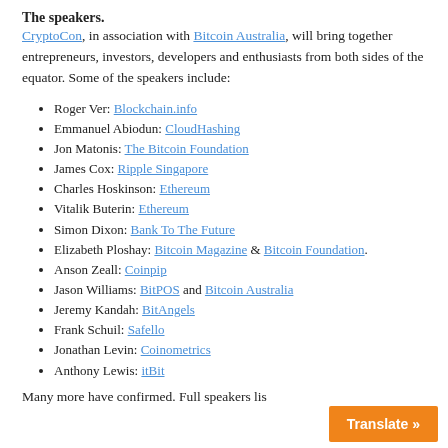The speakers.
CryptoCon, in association with Bitcoin Australia, will bring together entrepreneurs, investors, developers and enthusiasts from both sides of the equator. Some of the speakers include:
Roger Ver: Blockchain.info
Emmanuel Abiodun: CloudHashing
Jon Matonis: The Bitcoin Foundation
James Cox: Ripple Singapore
Charles Hoskinson: Ethereum
Vitalik Buterin: Ethereum
Simon Dixon: Bank To The Future
Elizabeth Ploshay: Bitcoin Magazine & Bitcoin Foundation.
Anson Zeall: Coinpip
Jason Williams: BitPOS and Bitcoin Australia
Jeremy Kandah: BitAngels
Frank Schuil: Safello
Jonathan Levin: Coinometrics
Anthony Lewis: itBit
Many more have confirmed. Full speakers lis...